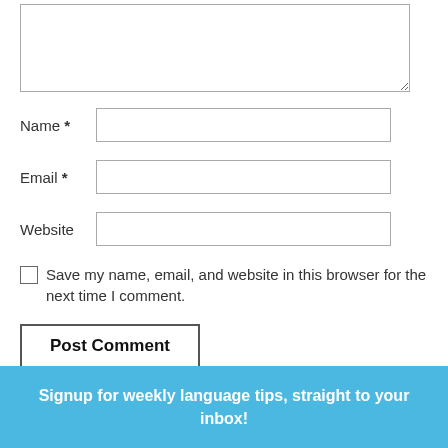[Figure (screenshot): Web form with textarea (partially visible at top), Name, Email, Website fields, a checkbox for saving browser info, a Post Comment button, and a teal footer banner]
Name *
Email *
Website
Save my name, email, and website in this browser for the next time I comment.
Post Comment
Signup for weekly language tips, straight to your inbox!